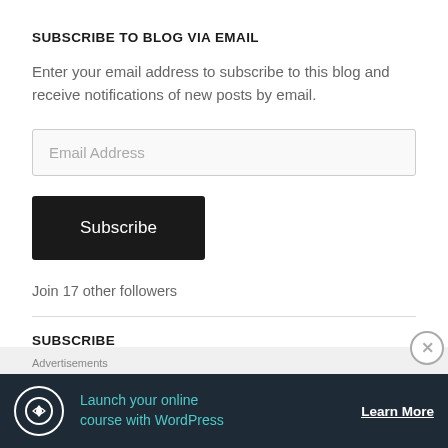SUBSCRIBE TO BLOG VIA EMAIL
Enter your email address to subscribe to this blog and receive notifications of new posts by email.
Email Address
Subscribe
Join 17 other followers
SUBSCRIBE
Advertisements
[Figure (other): Advertisement banner for 'Launch your online course with WordPress' with a Learn More button on a dark background.]